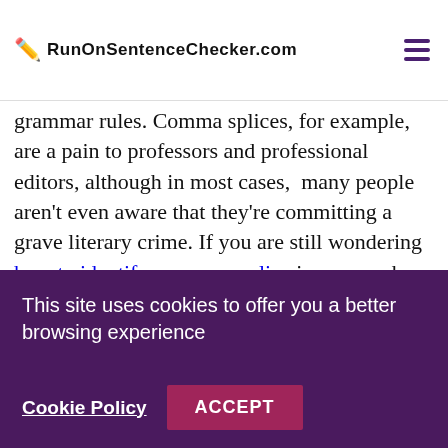RunOnSentenceChecker.com
rules are made to be broken. However, before throwing caution to the wind, you need to practice caution when breaking some of these grammar rules. Comma splices, for example, are a pain to professors and professional editors, although in most cases, many people aren't even aware that they're committing a grave literary crime. If you are still wondering how to identify a comma splice in you work or how to fix a sentence fragment our free online splice checker can help. It is easy to use, available for free, and produces instant results.
Take advantage of our comma
This site uses cookies to offer you a better browsing experience
Cookie Policy
ACCEPT